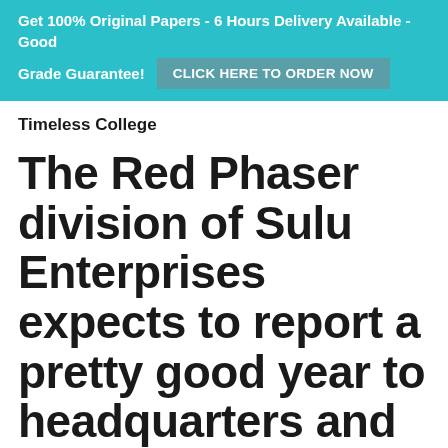Get 100% Original Papers - 6 Hours Delivery Available - Good Grade Guarantee! CLICK HERE TO ORDER NOW
Timeless College
The Red Phaser division of Sulu Enterprises expects to report a pretty good year to headquarters and to shareholders.